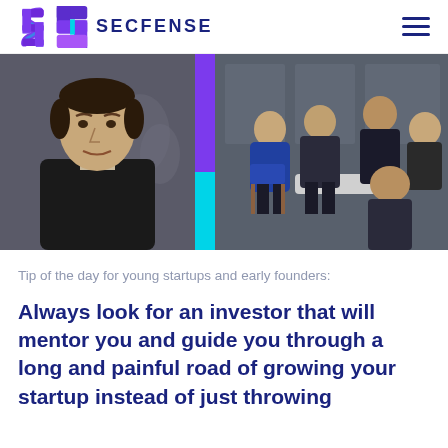[Figure (logo): Secfense logo: purple/blue S-shaped icon and SECFENSE wordmark in dark navy]
[Figure (photo): Two side-by-side photos separated by a purple/cyan vertical divider. Left: portrait of a man in a black sweater. Right: group of people seated in a circle at what appears to be a business meeting or panel discussion.]
Tip of the day for young startups and early founders:
Always look for an investor that will mentor you and guide you through a long and painful road of growing your startup instead of just throwing